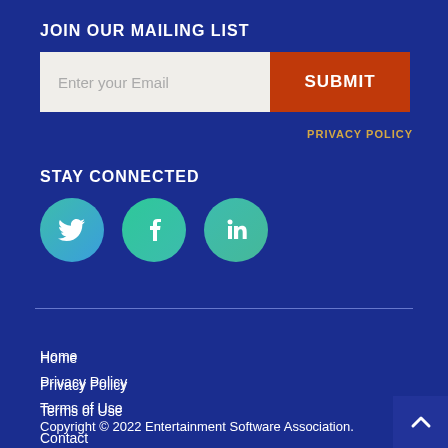JOIN OUR MAILING LIST
[Figure (infographic): Email sign-up form with a light beige input field reading 'Enter your Email' and a dark red SUBMIT button.]
PRIVACY POLICY
STAY CONNECTED
[Figure (infographic): Three circular social media icons for Twitter, Facebook, and LinkedIn with teal/green gradient backgrounds.]
Home
Privacy Policy
Terms of Use
Contact
Copyright © 2022 Entertainment Software Association.